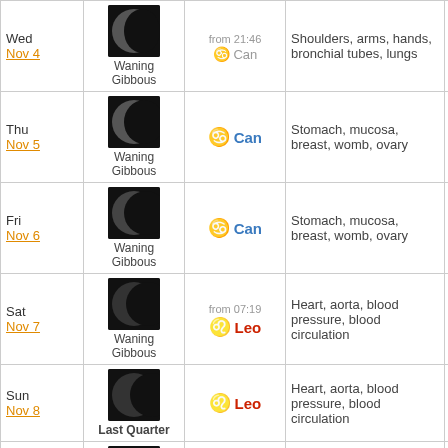| Day | Moon Phase | Sign | Body Parts | Favorable |
| --- | --- | --- | --- | --- |
| Wed
Nov 4 | Waning Gibbous | from 21:46
Can | Shoulders, arms, hands, bronchial tubes, lungs | Yes |
| Thu
Nov 5 | Waning Gibbous | Can | Stomach, mucosa, breast, womb, ovary | Yes |
| Fri
Nov 6 | Waning Gibbous | Can | Stomach, mucosa, breast, womb, ovary | Yes |
| Sat
Nov 7 | Waning Gibbous | from 07:19
Leo | Heart, aorta, blood pressure, blood circulation | Yes |
| Sun
Nov 8 | Last Quarter | Leo | Heart, aorta, blood pressure, blood circulation | Yes |
| Mon
Nov 9 | Waning Crescent | Leo
from 13:30
Vir | Heart, aorta, blood pressure, blood circulation | Yes |
| Tue | Waning Crescent | Vir | Pancreas, small intestine, digestive | Yes |